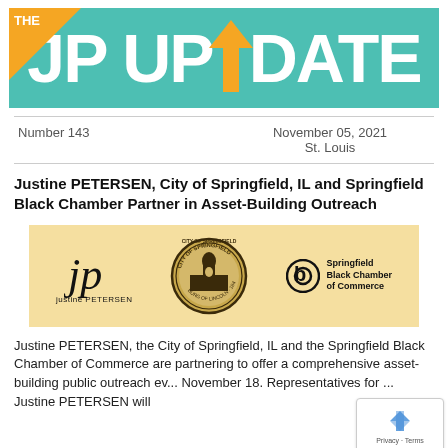[Figure (logo): The JP Update newsletter header banner — teal background, orange triangle in top-left with 'THE', large white bold text 'JP UPDATE' with an orange upward arrow replacing the 'O' in UPDATE]
Number 143
November 05, 2021
St. Louis
Justine PETERSEN, City of Springfield, IL and Springfield Black Chamber Partner in Asset-Building Outreach
[Figure (logo): Three logos on a tan/gold background: Justine PETERSEN logo (stylized 'jp' in italic serif), City of Springfield seal (circular emblem with capitol building and Abraham Lincoln figure, 'Burg of Lincoln' and '1840'), Springfield Black Chamber of Commerce logo (circular 'b' mark with text)]
Justine PETERSEN, the City of Springfield, IL and the Springfield Black Chamber of Commerce are partnering to offer a comprehensive asset-building public outreach ev... November 18. Representatives for ... Justine PETERSEN will